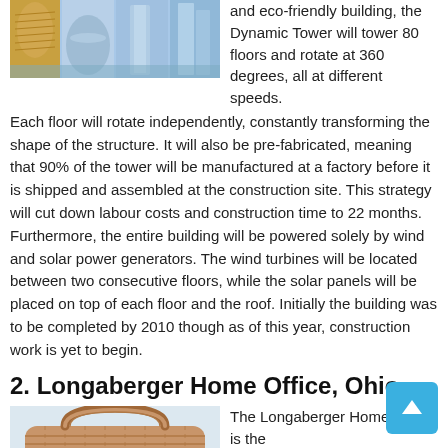[Figure (photo): Four images of the Dynamic Tower building showing rotating floors, modern architecture with blue sky backgrounds]
and eco-friendly building, the Dynamic Tower will tower 80 floors and rotate at 360 degrees, all at different speeds. Each floor will rotate independently, constantly transforming the shape of the structure. It will also be pre-fabricated, meaning that 90% of the tower will be manufactured at a factory before it is shipped and assembled at the construction site. This strategy will cut down labour costs and construction time to 22 months. Furthermore, the entire building will be powered solely by wind and solar power generators. The wind turbines will be located between two consecutive floors, while the solar panels will be placed on top of each floor and the roof. Initially the building was to be completed by 2010 though as of this year, construction work is yet to begin.
2. Longaberger Home Office, Ohio
[Figure (photo): Photo of the Longaberger Home Office building shaped like a basket, with brown woven exterior and handles on top]
The Longaberger Home Office is the